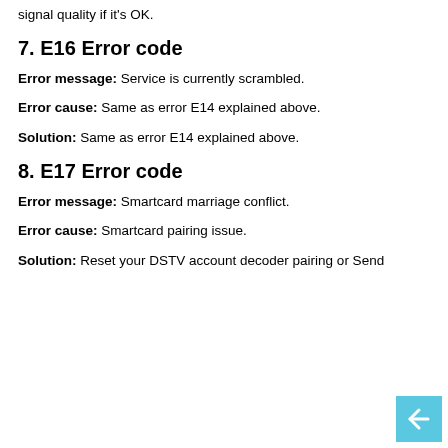signal quality if it's OK.
7. E16 Error code
Error message: Service is currently scrambled.
Error cause: Same as error E14 explained above.
Solution: Same as error E14 explained above.
8. E17 Error code
Error message: Smartcard marriage conflict.
Error cause: Smartcard pairing issue.
Solution: Reset your DSTV account decoder pairing or Send